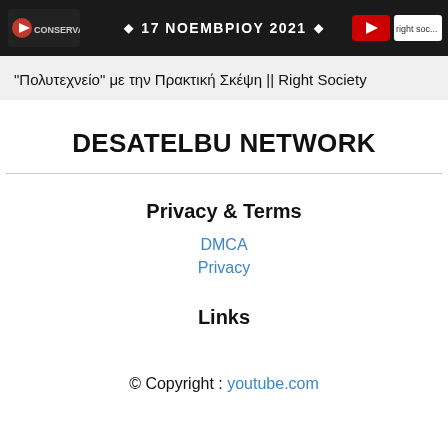[Figure (screenshot): Dark banner with conserva.gr logo on left, text '17 NOEMBPIOY 2021' with diamond symbols in center, YouTube button on right]
"Πολυτεχνείο" με την Πρακτική Σκέψη || Right Society
DESATELBU NETWORK
Privacy & Terms
DMCA
Privacy
Links
© Copyright : youtube.com